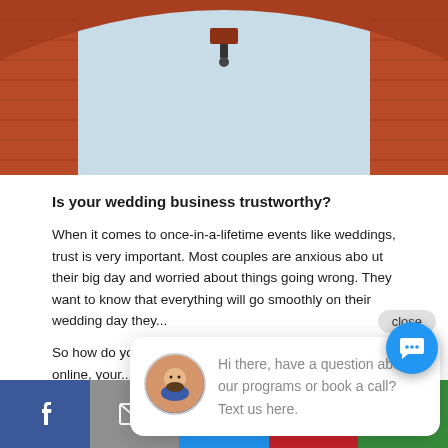[Figure (photo): Photo of a red brick arch structure viewed from below, with sky visible through the arch opening]
Is your wedding business trustworthy?
When it comes to once-in-a-lifetime events like weddings, trust is very important. Most couples are anxious about their big day and worried about things going wrong. They want to know that everything will go smoothly on their wedding day the...
So how do you build trust? How do you show people you online, your... by Matthew Toren at Blogtrepreneur.com outlines 20 ways to gain more trust online.
[Figure (screenshot): Chat popup overlay showing avatar of a bearded man and text: Hi there, have a question about our programs or book a call? Text us here. With a close button.]